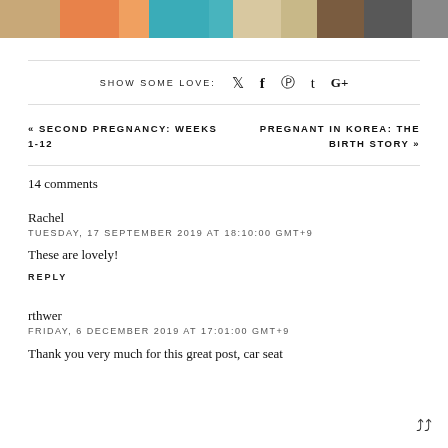[Figure (photo): Colorful knitted or woven fabric stripes in orange, teal, beige, brown, and gray — partial top strip]
SHOW SOME LOVE:  𝕗  𝕥  𝕘
« SECOND PREGNANCY: WEEKS 1-12
PREGNANT IN KOREA: THE BIRTH STORY »
14 comments
Rachel
TUESDAY, 17 SEPTEMBER 2019 AT 18:10:00 GMT+9
These are lovely!
REPLY
rthwer
FRIDAY, 6 DECEMBER 2019 AT 17:01:00 GMT+9
Thank you very much for this great post, car seat